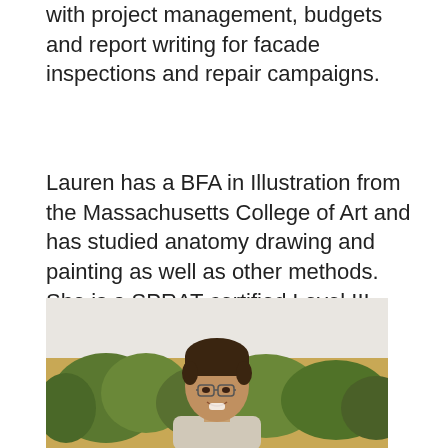with project management, budgets and report writing for facade inspections and repair campaigns.
Lauren has a BFA in Illustration from the Massachusetts College of Art and has studied anatomy drawing and painting as well as other methods. She is a SPRAT-certified Level III rope access supervisor.
[Figure (photo): Portrait photo of a young man with glasses, smiling, photographed outdoors with trees and warm autumn light in the background. The upper portion of the photo area shows a light gray/white background.]